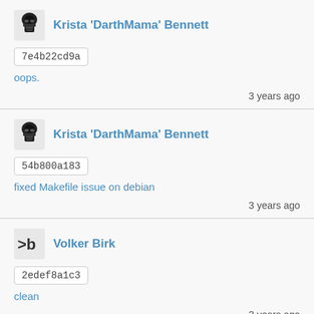[Figure (other): Darth Vader helmet avatar icon for Krista 'DarthMama' Bennett]
Krista 'DarthMama' Bennett
7e4b22cd9a
oops.
3 years ago
[Figure (other): Darth Vader helmet avatar icon for Krista 'DarthMama' Bennett]
Krista 'DarthMama' Bennett
54b800a183
fixed Makefile issue on debian
3 years ago
[Figure (other): >b logo avatar icon for Volker Birk]
Volker Birk
2edef8a1c3
clean
3 years ago